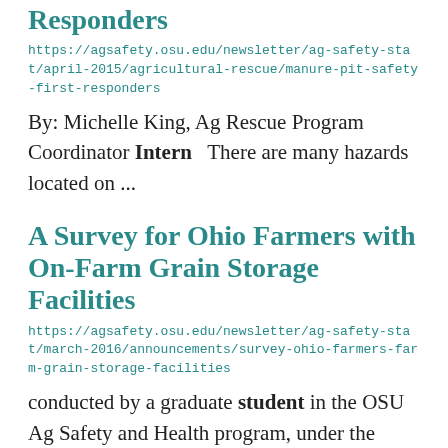Responders
https://agsafety.osu.edu/newsletter/ag-safety-stat/april-2015/agricultural-rescue/manure-pit-safety-first-responders
By: Michelle King, Ag Rescue Program Coordinator Intern   There are many hazards located on ...
A Survey for Ohio Farmers with On-Farm Grain Storage Facilities
https://agsafety.osu.edu/newsletter/ag-safety-stat/march-2016/announcements/survey-ohio-farmers-farm-grain-storage-facilities
conducted by a graduate student in the OSU Ag Safety and Health program, under the direction of Dee Jepsen. ...